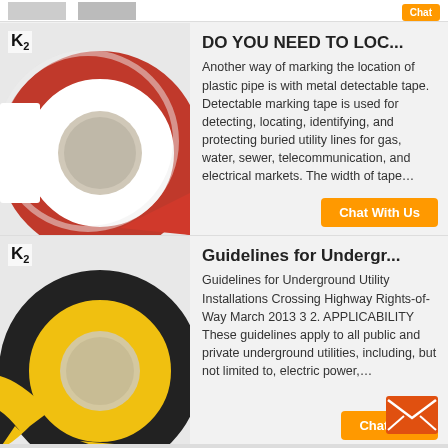[Figure (photo): Partial top strip showing two small product images and an orange button, partially visible at top of page]
[Figure (photo): Roll of red and white detectable marking tape with K2 logo in top-left corner]
DO YOU NEED TO LOC...
Another way of marking the location of plastic pipe is with metal detectable tape. Detectable marking tape is used for detecting, locating, identifying, and protecting buried utility lines for gas, water, sewer, telecommunication, and electrical markets. The width of tape…
Chat With Us
[Figure (photo): Roll of yellow and black detectable marking tape with K2 logo in top-left corner]
Guidelines for Undergr...
Guidelines for Underground Utility Installations Crossing Highway Rights-of-Way March 2013 3 2. APPLICABILITY These guidelines apply to all public and private underground utilities, including, but not limited to, electric power,…
Chat With